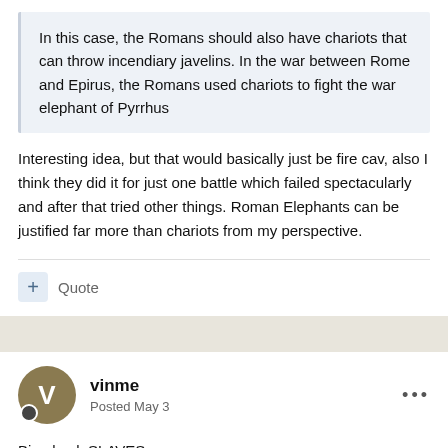In this case, the Romans should also have chariots that can throw incendiary javelins. In the war between Rome and Epirus, the Romans used chariots to fight the war elephant of Pyrrhus
Interesting idea, but that would basically just be fire cav, also I think they did it for just one battle which failed spectacularly and after that tried other things. Roman Elephants can be justified far more than chariots from my perspective.
+ Quote
vinme
Posted May 3
Bing back SLAVES.